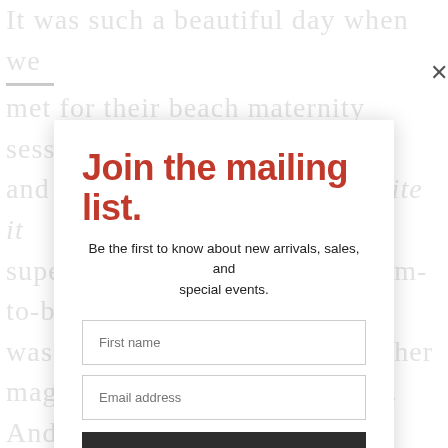[Figure (screenshot): Background blog post text partially visible behind a modal overlay. Text reads portions of a beach maternity session blog post in large gray serif font, including phrases like 'It was such a beautiful day when we met for their beach maternity session', 'super cold and windy! Brrr. Mom-to-be was such a trooper and worked her magic through her goosebumps. And their... quite a lot. hehe. Riley, their dog, was such a sweet lady and the name will always mean a lot to me as we almost named my first born Riley! We decided on Silversands Beach for their pictures as they allow...']
Join the mailing list.
Be the first to know about new arrivals, sales, and special events.
First name
Email address
Subscribe